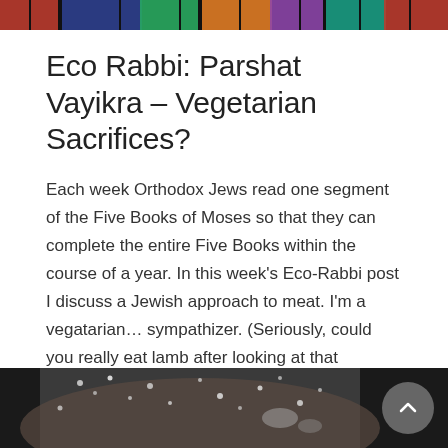[Figure (photo): Colorful stained glass or decorative image strip at the top of the page]
Eco Rabbi: Parshat Vayikra – Vegetarian Sacrifices?
Each week Orthodox Jews read one segment of the Five Books of Moses so that they can complete the entire Five Books within the course of a year. In this week's Eco-Rabbi post I discuss a Jewish approach to meat. I'm a vegatarian… sympathizer. (Seriously, could you really eat lamb after looking at that picture?) [...]
March 26, 2009 · Religion · Read more
[Figure (photo): Close-up photo of a person's face with water droplets or snow, partially visible at the bottom of the page]